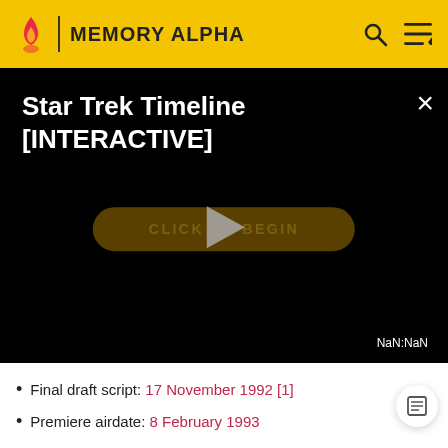MEMORY ALPHA
[Figure (screenshot): Video player with black background showing title 'Star Trek Timeline [INTERACTIVE]', a 'CLICK TO BEGIN' button with a play triangle overlay, close button (×), and NaN:NaN timestamp label.]
Final draft script: 17 November 1992 [1]
Premiere airdate: 8 February 1993
First UK airdate: 11 October 1995
Story and script
[Figure (photo): Partial bottom image showing a dark blue scene, likely a still from Star Trek.]